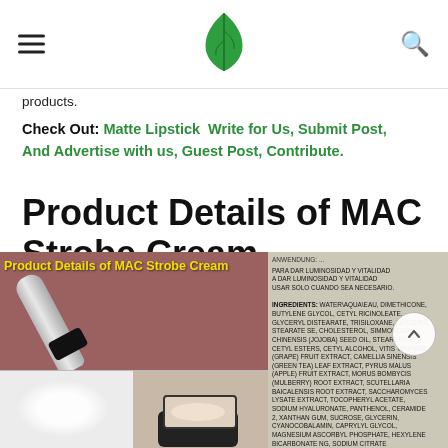[Hamburger menu] [Green leaf logo] [Search icon]
products.
Check Out: Matte Lipstick  Write for Us, Submit Post, And Advertise with us, Guest Post, Contribute.
Product Details of MAC Strobe Cream
[Figure (photo): Photo collage: MAC Strobe Cream tube on pink background (top left), dollop of white cream (bottom left), open jar of product (bottom center-left), ingredient list text on product packaging (right side). Yellow text overlay reads 'Product Details of MAC Strobe Cream'. A scroll-up button is visible on the right side.]